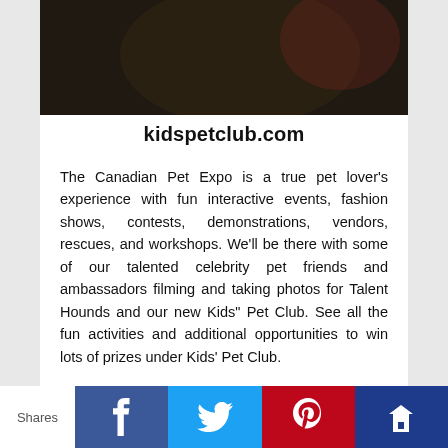[Figure (photo): Photo of a person holding a dog at Kids Pet Club event, with KPC logo visible]
kidspetclub.com
The Canadian Pet Expo is a true pet lover’s experience with fun interactive events, fashion shows, contests, demonstrations, vendors, rescues, and workshops. We’ll be there with some of our talented celebrity pet friends and ambassadors filming and taking photos for Talent Hounds and our new Kids” Pet Club. See all the fun activities and additional opportunities to win lots of prizes under Kids’ Pet Club.
Now you can enter the contest to win Free Family Passes to bring your family, including the
Shares